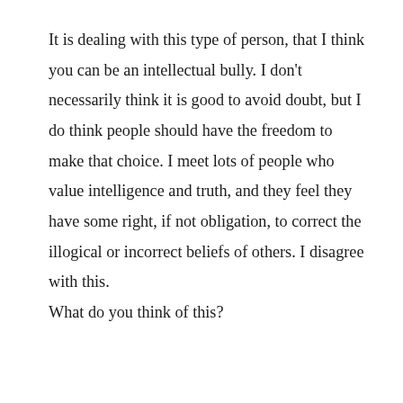It is dealing with this type of person, that I think you can be an intellectual bully. I don't necessarily think it is good to avoid doubt, but I do think people should have the freedom to make that choice. I meet lots of people who value intelligence and truth, and they feel they have some right, if not obligation, to correct the illogical or incorrect beliefs of others. I disagree with this.
What do you think of this?